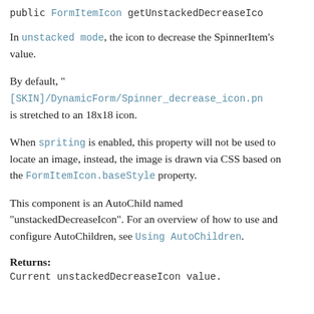public FormItemIcon getUnstackedDecreaseIco
In unstacked mode, the icon to decrease the SpinnerItem's value.
By default, "[SKIN]/DynamicForm/Spinner_decrease_icon.pn is stretched to an 18x18 icon.
When spriting is enabled, this property will not be used to locate an image, instead, the image is drawn via CSS based on the FormItemIcon.baseStyle property.
This component is an AutoChild named "unstackedDecreaseIcon". For an overview of how to use and configure AutoChildren, see Using AutoChildren.
Returns:
Current unstackedDecreaseIcon value.